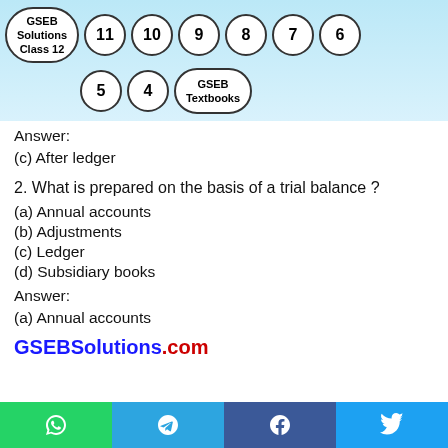GSEB Solutions Class 12 | 11 | 10 | 9 | 8 | 7 | 6 | 5 | 4 | GSEB Textbooks
Answer:
(c) After ledger
2. What is prepared on the basis of a trial balance ?
(a) Annual accounts
(b) Adjustments
(c) Ledger
(d) Subsidiary books
Answer:
(a) Annual accounts
GSEBSolutions.com
Social share bar: WhatsApp, Telegram, Facebook, Twitter